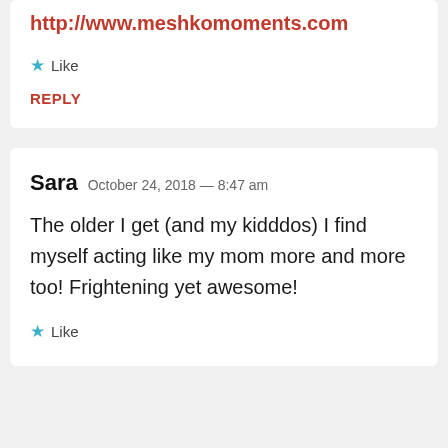http://www.meshkomoments.com
Like
REPLY
Sara  October 24, 2018 — 8:47 am
The older I get (and my kidddos) I find myself acting like my mom more and more too! Frightening yet awesome!
Like